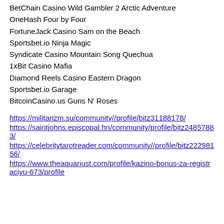BetChain Casino Wild Gambler 2 Arctic Adventure
OneHash Four by Four
FortuneJack Casino Sam on the Beach
Sportsbet.io Ninja Magic
Syndicate Casino Mountain Song Quechua
1xBit Casino Mafia
Diamond Reels Casino Eastern Dragon
Sportsbet.io Garage
BitcoinCasino.us Guns N' Roses
https://militarizm.su/community//profile/bitz31188178/
https://saintjohns.episcopal.hn/community/profile/bitz24857883/
https://celebritytarotreader.com/community//profile/bitz22298156/
https://www.theaquariust.com/profile/kazino-bonus-za-registraciyu-673/profile